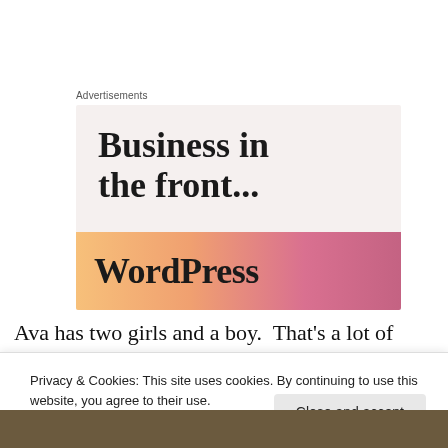Advertisements
[Figure (illustration): WordPress advertisement banner with text 'Business in the front...' on a beige/light background, and a gradient orange-to-pink banner below with 'WordPress' in bold serif text.]
Ava has two girls and a boy.  That's a lot of baby to come
Privacy & Cookies: This site uses cookies. By continuing to use this website, you agree to their use.
To find out more, including how to control cookies, see here: Cookie Policy
Close and accept